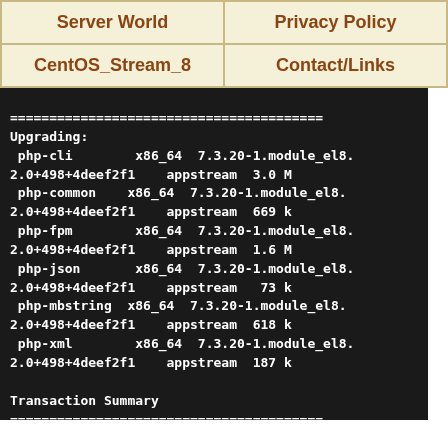| Server World | Privacy Policy |
| --- | --- |
| CentOS_Stream_8 | Contact/Links |
========================================
Upgrading:
 php-cli        x86_64  7.3.20-1.module_el8.
2.0+498+4deef2f1    appstream  3.0 M
 php-common    x86_64  7.3.20-1.module_el8.
2.0+498+4deef2f1    appstream  669 k
 php-fpm        x86_64  7.3.20-1.module_el8.
2.0+498+4deef2f1    appstream  1.6 M
 php-json       x86_64  7.3.20-1.module_el8.
2.0+498+4deef2f1    appstream   73 k
 php-mbstring  x86_64  7.3.20-1.module_el8.
2.0+498+4deef2f1    appstream  618 k
 php-xml        x86_64  7.3.20-1.module_el8.
2.0+498+4deef2f1    appstream  187 k

Transaction Summary
========================================
========================================
Upgrade  6 Packages